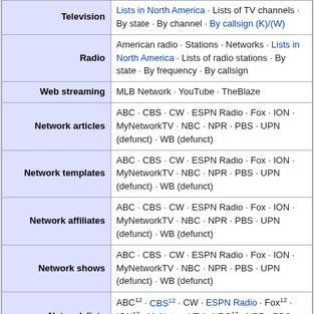| Category | Content |
| --- | --- |
| Television | Lists in North America · Lists of TV channels · By state · By channel · By callsign (K)/(W) |
| Radio | American radio · Stations · Networks · Lists in North America · Lists of radio stations · By state · By frequency · By callsign |
| Web streaming | MLB Network · YouTube · TheBlaze |
| Network articles | ABC · CBS · CW · ESPN Radio · Fox · ION · MyNetworkTV · NBC · NPR · PBS · UPN (defunct) · WB (defunct) |
| Network templates | ABC · CBS · CW · ESPN Radio · Fox · ION · MyNetworkTV · NBC · NPR · PBS · UPN (defunct) · WB (defunct) |
| Network affiliates | ABC · CBS · CW · ESPN Radio · Fox · ION · MyNetworkTV · NBC · NPR · PBS · UPN (defunct) · WB (defunct) |
| Network shows | ABC · CBS · CW · ESPN Radio · Fox · ION · MyNetworkTV · NBC · NPR · PBS · UPN (defunct) · WB (defunct) |
| Network lists | ABC12 · CBS12 · CW · ESPN Radio · Fox12 · ION12 · MyNetworkTV · NBC12 · NPR · PBS · UPN (defunct) · WB (defunct) |